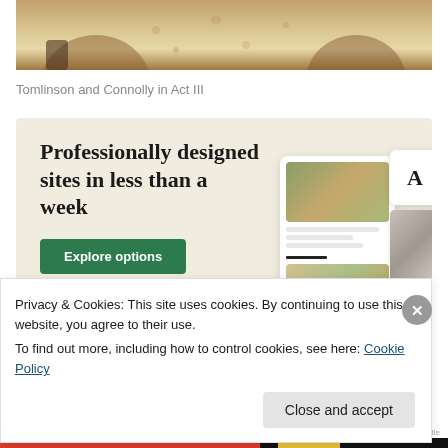[Figure (photo): Bottom portion of a theatrical performance photo showing costumes — a floral/embroidered dress and other period clothing. Cropped at the top of the page.]
Tomlinson and Connolly in Act III
[Figure (screenshot): Advertisement with beige background reading 'Professionally designed sites in less than a week' with a green 'Explore options' button and mockup UI images on the right side.]
Privacy & Cookies: This site uses cookies. By continuing to use this website, you agree to their use.
To find out more, including how to control cookies, see here: Cookie Policy
Close and accept